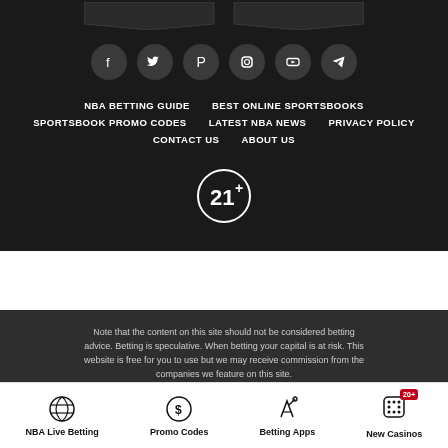[Figure (logo): Website logo banners at top, dark background]
[Figure (infographic): Social media icons in dark circular buttons: Facebook, Twitter, Pinterest, Instagram, YouTube, Telegram]
NBA BETTING GUIDE   BEST ONLINE SPORTSBOOKS   SPORTSBOOK PROMO CODES   LATEST NBA NEWS   PRIVACY POLICY   CONTACT US   ABOUT US
[Figure (other): 21+ age restriction circular icon in white outline]
Note that the content on this site should not be considered betting advice. Betting is speculative. When betting your capital is at risk. This website is free for you to use but we may receive commission from the companies we feature on this site. If you or someone you know has a gambling problem and wants help,
NBA Live Betting   Promo Codes   Betting Apps   New Casinos 20+